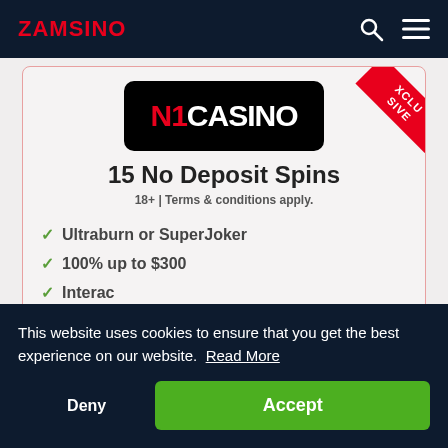ZAMSINO
[Figure (logo): N1 Casino logo — black rounded rectangle with red N1 and white CASINO text]
15 No Deposit Spins
18+ | Terms & conditions apply.
Ultraburn or SuperJoker
100% up to $300
Interac
This website uses cookies to ensure that you get the best experience on our website. Read More
Deny
Accept